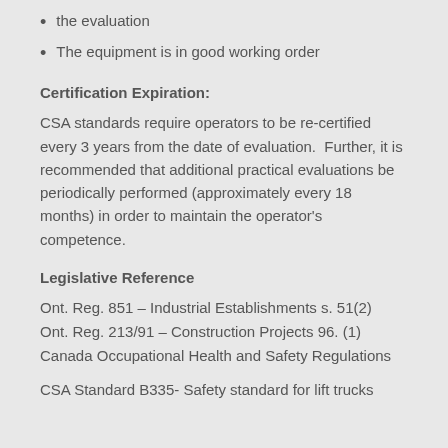the evaluation
The equipment is in good working order
Certification Expiration:
CSA standards require operators to be re-certified every 3 years from the date of evaluation.  Further, it is recommended that additional practical evaluations be periodically performed (approximately every 18 months) in order to maintain the operator's competence.
Legislative Reference
Ont. Reg. 851 – Industrial Establishments s. 51(2)
Ont. Reg. 213/91 – Construction Projects 96. (1)
Canada Occupational Health and Safety Regulations
CSA Standard B335- Safety standard for lift trucks